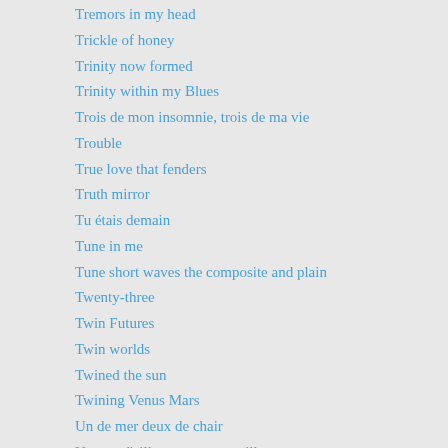Tremors in my head
Trickle of honey
Trinity now formed
Trinity within my Blues
Trois de mon insomnie, trois de ma vie
Trouble
True love that fenders
Truth mirror
Tu étais demain
Tune in me
Tune short waves the composite and plain
Twenty-three
Twin Futures
Twin worlds
Twined the sun
Twining Venus Mars
Un de mer deux de chair
Un peu d'ailleurs, un pas meilleur
Unapologetic
Unbecome and Be
Unbreak me not